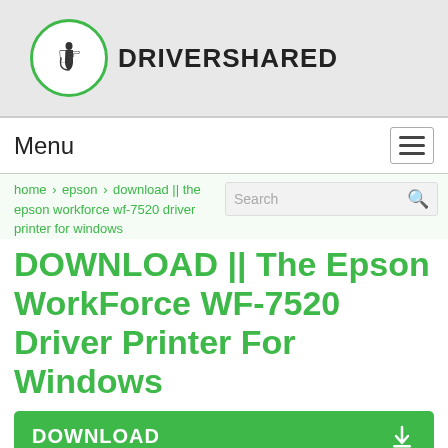[Figure (logo): DriverShared logo: green circle with hand/cursor icon, text DRIVERSHARED in bold black]
Menu
home > epson > download || the epson workforce wf-7520 driver printer for windows
DOWNLOAD || The Epson WorkForce WF-7520 Driver Printer For Windows
DOWNLOAD
Category :
Epson
Writer By :
Tony Liam